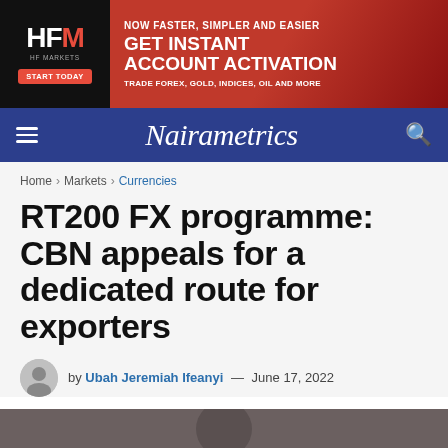[Figure (other): HFM HF Markets advertisement banner: 'NOW FASTER, SIMPLER AND EASIER — GET INSTANT ACCOUNT ACTIVATION — TRADE FOREX, GOLD, INDICES, OIL AND MORE'. Black left panel with HFM logo and START TODAY button, red right panel with stock chart background.]
Nairametrics
Home > Markets > Currencies
RT200 FX programme: CBN appeals for a dedicated route for exporters
by Ubah Jeremiah Ifeanyi — June 17, 2022
[Figure (photo): Photograph of a person, partially visible at the bottom of the page.]